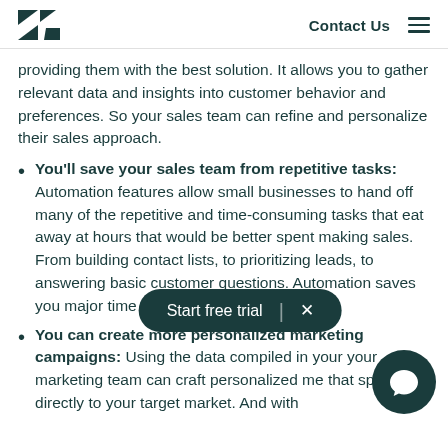Contact Us
providing them with the best solution. It allows you to gather relevant data and insights into customer behavior and preferences. So your sales team can refine and personalize their sales approach.
You'll save your sales team from repetitive tasks: Automation features allow small businesses to hand off many of the repetitive and time-consuming tasks that eat away at hours that would be better spent making sales. From building contact lists, to prioritizing leads, to answering basic customer questions. Automation saves you major time so you can make more sales
You can create more personalized marketing campaigns: Using the data compiled in your your marketing team can craft personalized me that speaks directly to your target market. And with